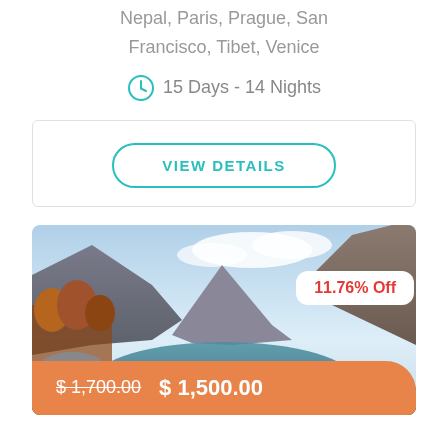Nepal, Paris, Prague, San Francisco, Tibet, Venice
15 Days - 14 Nights
VIEW DETAILS
[Figure (photo): Mountain lake landscape with rocky peaks, autumn-colored trees and reflective water]
11.76% Off
$ 1,700.00  $ 1,500.00